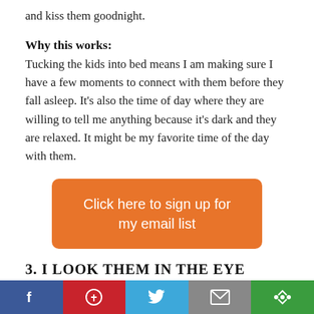and kiss them goodnight.
Why this works:
Tucking the kids into bed means I am making sure I have a few moments to connect with them before they fall asleep.  It's also the time of day where they are willing to tell me anything because it's dark and they are relaxed.  It might be my favorite time of the day with them.
[Figure (other): Orange rounded rectangle button with white text: Click here to sign up for my email list]
3.  I LOOK THEM IN THE EYE WHEN WE'RE TALKING TO EACH OTHER
[Figure (other): Social media sharing bar with Facebook, Pinterest, Twitter, Email, and More buttons]